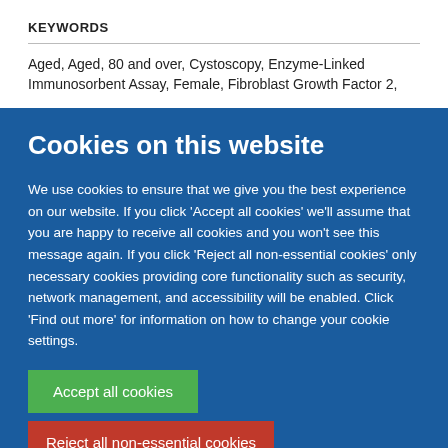KEYWORDS
Aged, Aged, 80 and over, Cystoscopy, Enzyme-Linked Immunosorbent Assay, Female, Fibroblast Growth Factor 2,
Cookies on this website
We use cookies to ensure that we give you the best experience on our website. If you click 'Accept all cookies' we'll assume that you are happy to receive all cookies and you won't see this message again. If you click 'Reject all non-essential cookies' only necessary cookies providing core functionality such as security, network management, and accessibility will be enabled. Click 'Find out more' for information on how to change your cookie settings.
Accept all cookies
Reject all non-essential cookies
Find out more